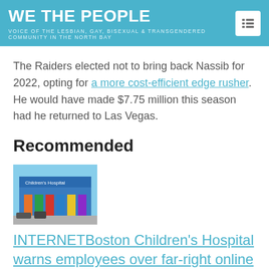WE THE PEOPLE
VOICE OF THE LESBIAN, GAY, BISEXUAL & TRANSGENDERED COMMUNITY IN THE NORTH BAY
The Raiders elected not to bring back Nassib for 2022, opting for a more cost-efficient edge rusher. He would have made $7.75 million this season had he returned to Las Vegas.
Recommended
[Figure (photo): Thumbnail image of a colorful building exterior, appears to be a hospital or institutional building with colored columns]
INTERNETBoston Children's Hospital warns employees over far-right online harassment campaign